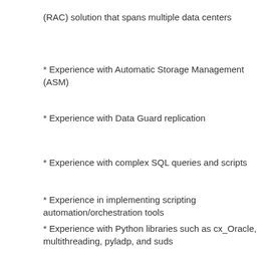(RAC) solution that spans multiple data centers
* Experience with Automatic Storage Management (ASM)
* Experience with Data Guard replication
* Experience with complex SQL queries and scripts
* Experience in implementing scripting automation/orchestration tools
* Experience with Python libraries such as cx_Oracle, multithreading, pyladp, and suds
* Experience with AKO or the government Security Community